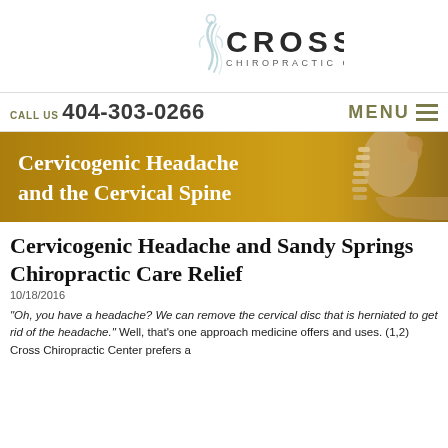[Figure (logo): Cross Chiropractic Center logo with stylized figure and text]
CALL US 404-303-0266   MENU
[Figure (illustration): Banner image: Cervicogenic Headache and the Cervical Spine — gold gradient background with woman touching neck and spine illustration]
Cervicogenic Headache and Sandy Springs Chiropractic Care Relief
10/18/2016
"Oh, you have a headache? We can remove the cervical disc that is herniated to get rid of the headache." Well, that's one approach medicine offers and uses. (1,2) Cross Chiropractic Center prefers a